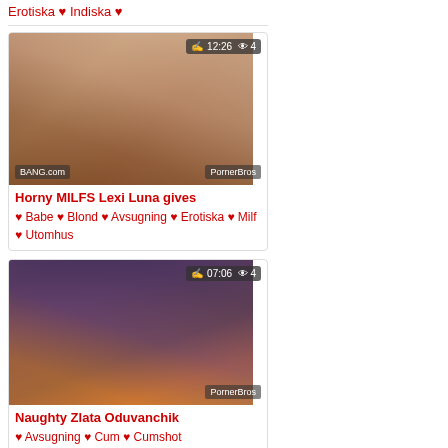Erotiska ♥ Indiska ♥
[Figure (photo): Thumbnail image with duration 12:26 and 4 views, watermark PornerBros, BANG.com logo]
Horny MILFS Lexi Luna gives
♥ Babe ♥ Blond ♥ Avsugning ♥ Erotiska ♥ Milf ♥ Utomhus
[Figure (photo): Thumbnail image with duration 07:06 and 4 views, watermark PornerBros]
Naughty Zlata Oduvanchik
♥ Avsugning ♥ Cum ♥ Cumshot ♥ Tonåring (18-19) ♥ Tait